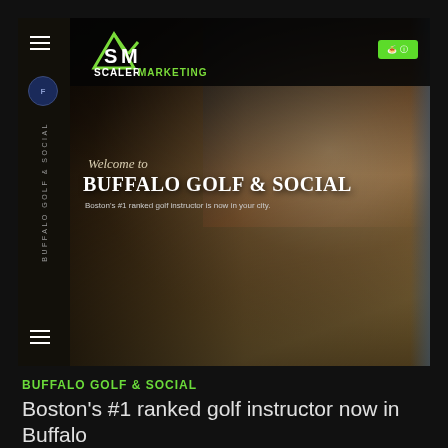[Figure (screenshot): Screenshot of a website for Buffalo Golf & Social with dark background, Scaler Marketing logo at top left, a hero image of a golf glove/hand against a sunset background, with text overlay 'Welcome to BUFFALO GOLF & SOCIAL' and subtitle 'Boston's #1 ranked golf instructor is now in your city.']
BUFFALO GOLF & SOCIAL
Boston's #1 ranked golf instructor now in Buffalo